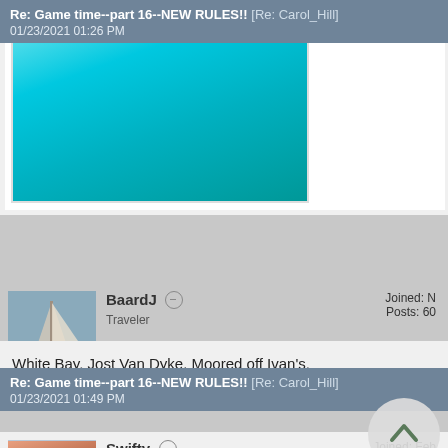[Figure (photo): Ocean/water photo showing turquoise blue water, partially visible at top of page]
Re: Game time--part 16--NEW RULES!! [Re: Carol_Hill]
01/23/2021 01:26 PM
BaardJ  Traveler   Joined: N...  Posts: 60...
White Bay, Jost Van Dyke. Moored off Ivan's.
Re: Game time--part 16--NEW RULES!! [Re: Carol_Hill]
01/23/2021 01:49 PM
Swifty  Traveler   Joined: Feb...  Posts: 161  Roseville, M...